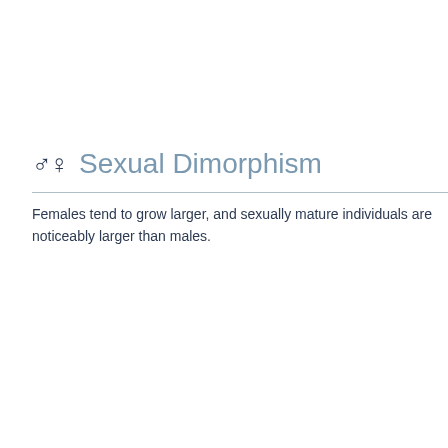♂♀ Sexual Dimorphism
Females tend to grow larger, and sexually mature individuals are noticeably larger than males.